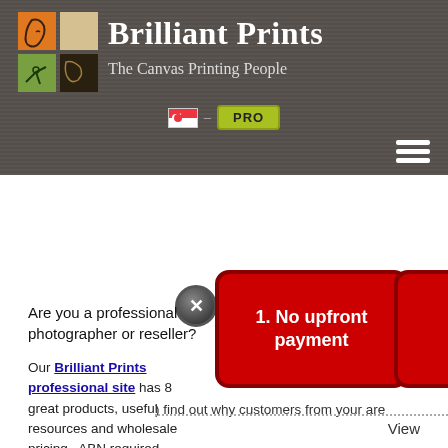[Figure (logo): Brilliant Prints logo: a 2x2 grid with orange and green squares containing a line-art face/figure]
Brilliant Prints
The Canvas Printing People
[Figure (screenshot): Singapore flag icon and PRO button in navigation bar]
[Figure (other): Hamburger menu icon (three horizontal white lines)]
[Figure (other): Close X button (black circle with X)]
[Figure (infographic): Red rounded rectangle CTA box with text: 1. No upfront payment]
Are you a professional photographer or reseller?
Our Brilliant Prints professional site has 8 great products, useful resources and wholesale pricing.  ABN required.
) find out why customers from your are
View